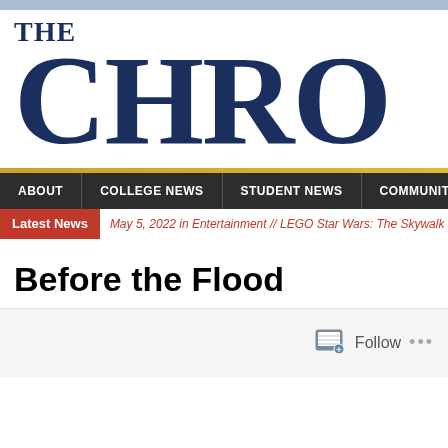THE CHRO
ABOUT | COLLEGE NEWS | STUDENT NEWS | COMMUNITY
Latest News  May 5, 2022 in Entertainment // LEGO Star Wars: The Skywalk
Before the Flood
[Figure (screenshot): Bottom area with Follow button widget]